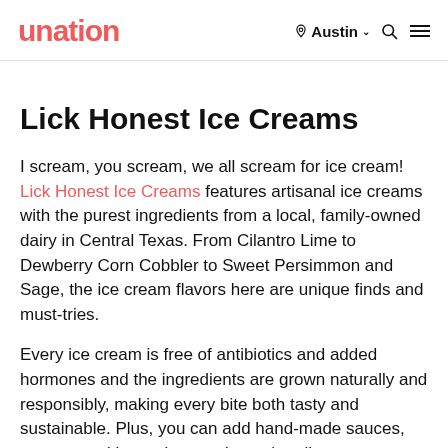unation  Austin  🔍  ☰
Lick Honest Ice Creams
I scream, you scream, we all scream for ice cream! Lick Honest Ice Creams features artisanal ice creams with the purest ingredients from a local, family-owned dairy in Central Texas. From Cilantro Lime to Dewberry Corn Cobbler to Sweet Persimmon and Sage, the ice cream flavors here are unique finds and must-tries.
Every ice cream is free of antibiotics and added hormones and the ingredients are grown naturally and responsibly, making every bite both tasty and sustainable. Plus, you can add hand-made sauces, syrups, cookies, cakes, and marshmallows to your order